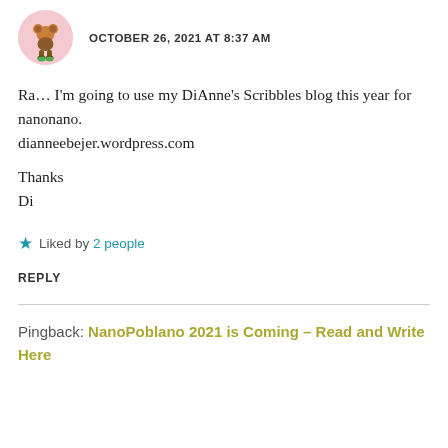OCTOBER 26, 2021 AT 8:37 AM
Ra… I'm going to use my DiAnne's Scribbles blog this year for nanonano.
dianneebejer.wordpress.com
Thanks
Di
★ Liked by 2 people
REPLY
Pingback: NanoPoblano 2021 is Coming – Read and Write Here